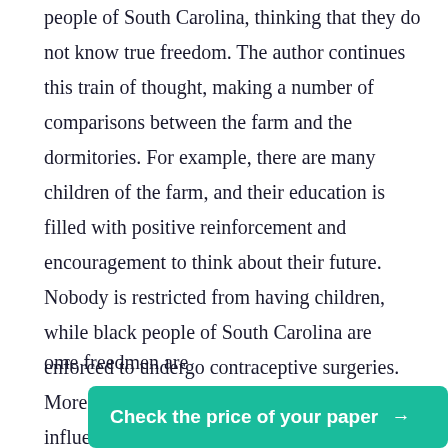people of South Carolina, thinking that they do not know true freedom. The author continues this train of thought, making a number of comparisons between the farm and the dormitories. For example, there are many children of the farm, and their education is filled with positive reinforcement and encouragement to think about their future. Nobody is restricted from having children, while black people of South Carolina are enforced to undergo contraceptive surgeries. Moreover, Valentine values other black influencers and their creations.
During her time on the farm, Cora meets various musicians, poets, and writers that show their heritage with pride. However, not everyone is happy to see her …ome freedmen are …terfering behavior
[Figure (other): Teal/green call-to-action button with text 'Check the price of your paper →']